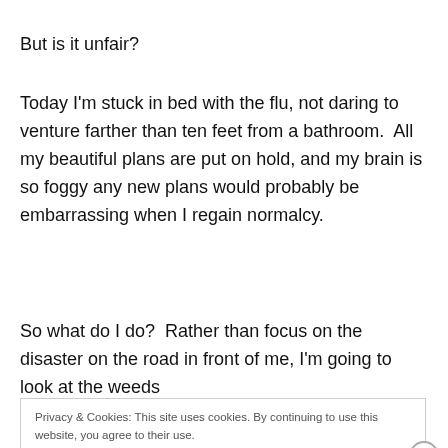But is it unfair?
Today I'm stuck in bed with the flu, not daring to venture farther than ten feet from a bathroom.  All my beautiful plans are put on hold, and my brain is so foggy any new plans would probably be embarrassing when I regain normalcy.
So what do I do?  Rather than focus on the disaster on the road in front of me, I'm going to look at the weeds
Privacy & Cookies: This site uses cookies. By continuing to use this website, you agree to their use.
To find out more, including how to control cookies, see here: Cookie Policy